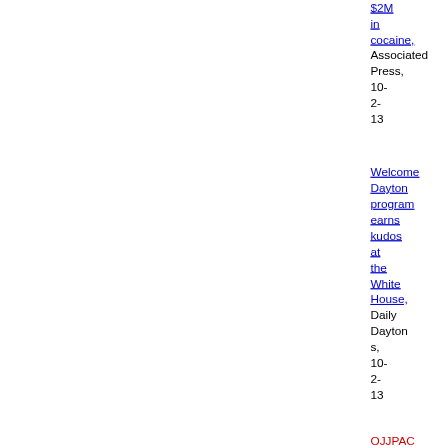$2M in cocaine, Associated Press, 10-2-13
Welcome Dayton program earns kudos at the White House, Daily Daytons, 10-2-13
OJJPAC